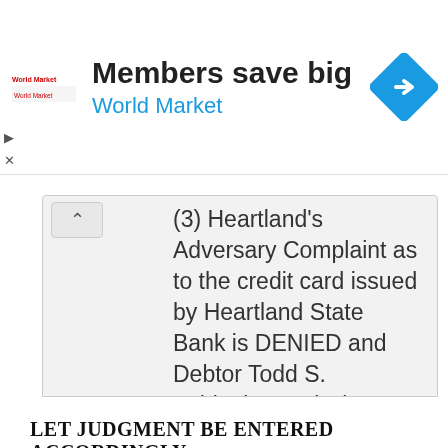[Figure (screenshot): Advertisement banner for World Market with logo, text 'Members save big / World Market', and a blue diamond navigation icon]
(3) Heartland's Adversary Complaint as to the credit card issued by Heartland State Bank is DENIED and Debtor Todd S. Schlenker's Discharge is GRANTED.
LET JUDGMENT BE ENTERED ACCORDINGLY.